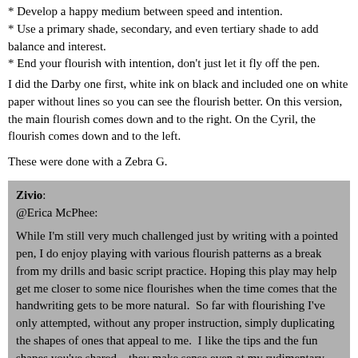* Develop a happy medium between speed and intention.
* Use a primary shade, secondary, and even tertiary shade to add balance and interest.
* End your flourish with intention, don't just let it fly off the pen.
I did the Darby one first, white ink on black and included one on white paper without lines so you can see the flourish better. On this version, the main flourish comes down and to the right. On the Cyril, the flourish comes down and to the left.
These were done with a Zebra G.
Zivio:
@Erica McPhee:

While I'm still very much challenged just by writing with a pointed pen, I do enjoy playing with various flourish patterns as a break from my drills and basic script practice. Hoping this play may help get me closer to some nice flourishes when the time comes that the handwriting gets to be more natural.  So far with flourishing I've only attempted, without any proper instruction, simply duplicating the shapes of ones that appeal to me.  I like the tips and the fun shapes you've shared – they make sense even at my rudimentary level, so thanks!
Erica McPhee:
@Zivio I'm so glad you find the information helpful. These are